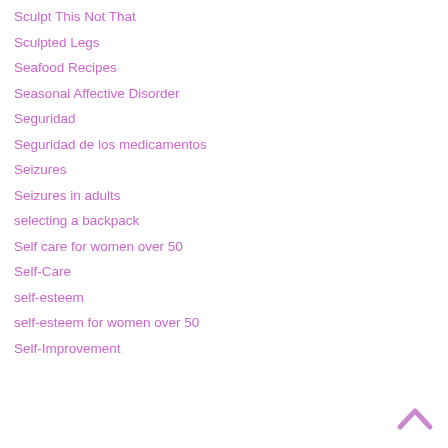Sculpt This Not That
Sculpted Legs
Seafood Recipes
Seasonal Affective Disorder
Seguridad
Seguridad de los medicamentos
Seizures
Seizures in adults
selecting a backpack
Self care for women over 50
Self-Care
self-esteem
self-esteem for women over 50
Self-Improvement